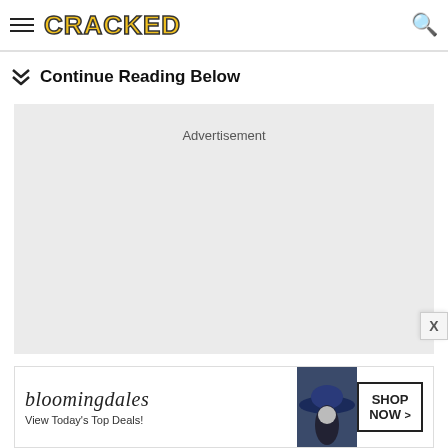CRACKED
Continue Reading Below
[Figure (other): Advertisement placeholder box — a light grey rectangle with the word 'Advertisement' centered near the top]
[Figure (other): Bloomingdale's banner advertisement showing the text 'bloomingdales', 'View Today's Top Deals!', a woman in a wide-brim hat, and a 'SHOP NOW >' button]